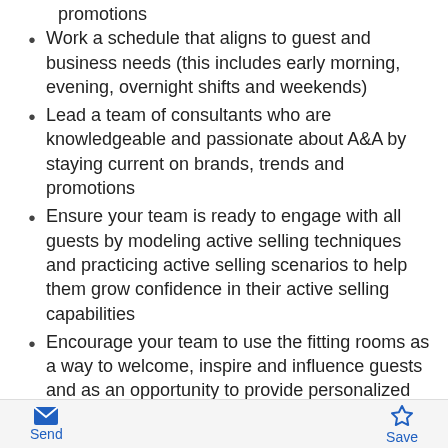promotions
Work a schedule that aligns to guest and business needs (this includes early morning, evening, overnight shifts and weekends)
Lead a team of consultants who are knowledgeable and passionate about A&A by staying current on brands, trends and promotions
Ensure your team is ready to engage with all guests by modeling active selling techniques and practicing active selling scenarios to help them grow confidence in their active selling capabilities
Encourage your team to use the fitting rooms as a way to welcome, inspire and influence guests and as an opportunity to provide personalized recommendations to complete their look
Encourage guests to shop with confidence by creating inspiring visual moments that are
Send  Save